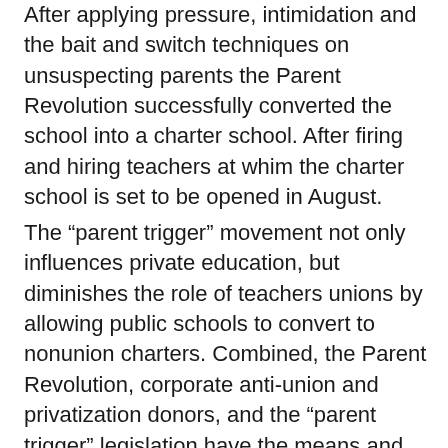After applying pressure, intimidation and the bait and switch techniques on unsuspecting parents the Parent Revolution successfully converted the school into a charter school. After firing and hiring teachers at whim the charter school is set to be opened in August.
The “parent trigger” movement not only influences private education, but diminishes the role of teachers unions by allowing public schools to convert to nonunion charters. Combined, the Parent Revolution, corporate anti-union and privatization donors, and the “parent trigger” legislation have the means and motive to destroy public education. Likewise, it is hard to see the good in the organization’s mission to empower the parents of failing schools when the nation’s largest anti-labor